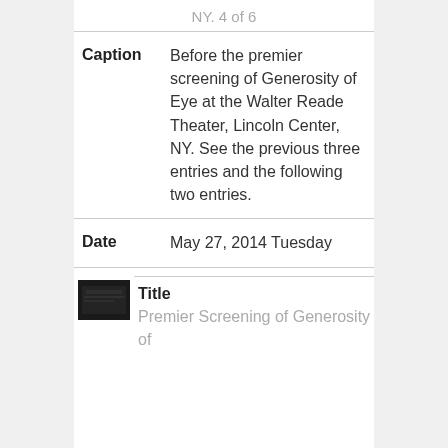NY. 4 of 6
Caption: Before the premier screening of Generosity of Eye at the Walter Reade Theater, Lincoln Center, NY. See the previous three entries and the following two entries.
Date: May 27, 2014 Tuesday
[Figure (photo): Small dark thumbnail image of a theater screening]
Title: Premier Screening of Generosity of